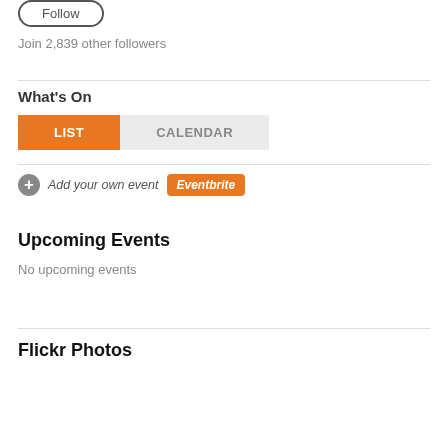[Figure (other): Follow button with rounded border]
Join 2,839 other followers
What's On
[Figure (other): Tab bar with LIST (orange, active) and CALENDAR (gray) tabs]
[Figure (other): Add your own event button with Eventbrite badge]
Upcoming Events
No upcoming events
Flickr Photos